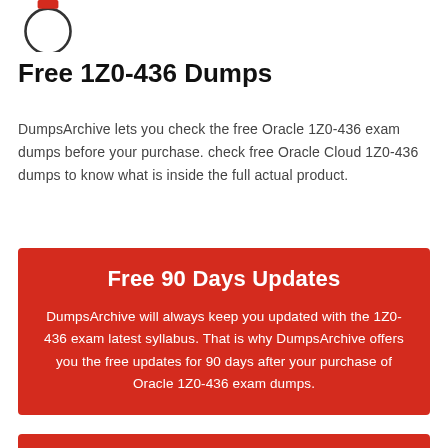[Figure (logo): Partial circle logo with red accent at top, partially cropped]
Free 1Z0-436 Dumps
DumpsArchive lets you check the free Oracle 1Z0-436 exam dumps before your purchase. check free Oracle Cloud 1Z0-436 dumps to know what is inside the full actual product.
Free 90 Days Updates
DumpsArchive will always keep you updated with the 1Z0-436 exam latest syllabus. That is why DumpsArchive offers you the free updates for 90 days after your purchase of Oracle 1Z0-436 exam dumps.